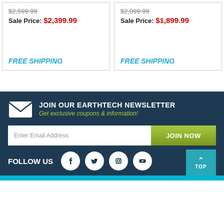$2,599.99 Sale Price: $2,399.99 FREE SHIPPING
$2,099.99 Sale Price: $1,899.99 FREE SHIPPING
JOIN OUR EARTHTECH NEWSLETTER Get exclusive coupons & information!
Enter Email Address JOIN NOW
FOLLOW US